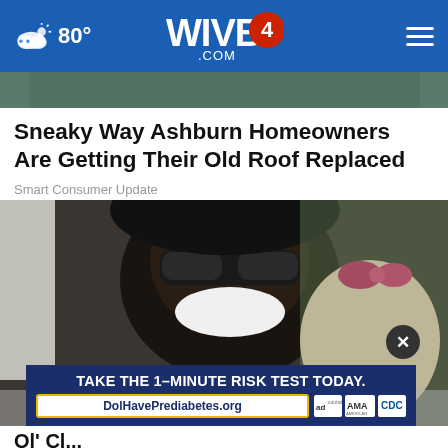80° WIVB4.COM
[Figure (photo): Partial top image strip showing outdoor scene]
Sneaky Way Ashburn Homeowners Are Getting Their Old Roof Replaced
Smart Consumer Update
[Figure (photo): Man wearing sunglasses and black cap smiling with a young girl who has a pink bow in her hair]
TAKE THE 1-MINUTE RISK TEST TODAY. DolHavePrediabetes.org
Ol' Cl... Cu... Ma... Ca... Te... We... Ne...